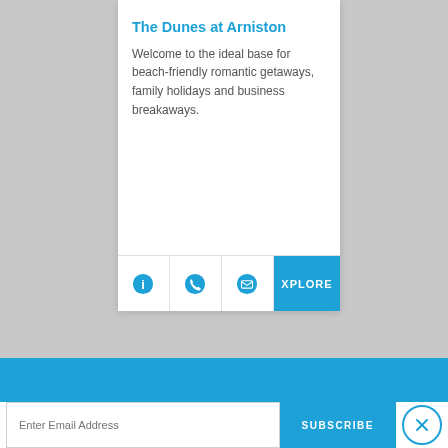The Dunes at Arniston
Welcome to the ideal base for beach-friendly romantic getaways, family holidays and business breakaways.
[Figure (infographic): Action bar with four buttons: info (circle-i icon), phone (handset icon), email (envelope icon), and XPLORE button in blue]
INFORMATION   ACCOMMODATION   THINGS TO DO
Enter Email Address
SUBSCRIBE